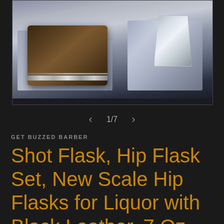[Figure (photo): Product photo of a hip flask set in a gift box with dark blue/silver tissue paper, showing a brown leather-wrapped flask and a stainless steel cup/shot glass]
1/7
GET BUZZED BARBER
Shot Flask, Hip Flask Set, New Scale Hip Flasks for Liquor with Black Leather, 7 Oz with Funnel Wine Glass, 100% Leak Proof, Stainless Steel Flasks for Liquor...